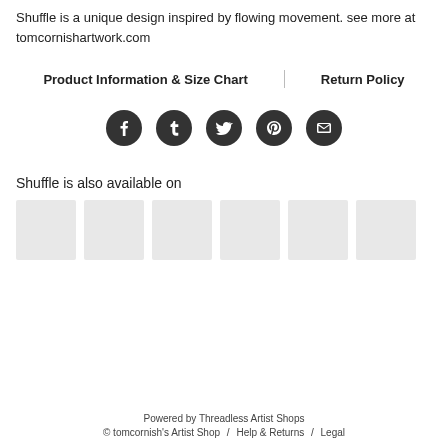Shuffle is a unique design inspired by flowing movement. see more at tomcornishartwork.com
Product Information & Size Chart   Return Policy
[Figure (other): Row of 5 social media icon buttons (Facebook, Tumblr, Twitter, Pinterest, Email) as dark circles]
Shuffle is also available on
[Figure (other): Row of 6 product thumbnail placeholder images in light grey]
Powered by Threadless Artist Shops
© tomcornish's Artist Shop / Help & Returns / Legal